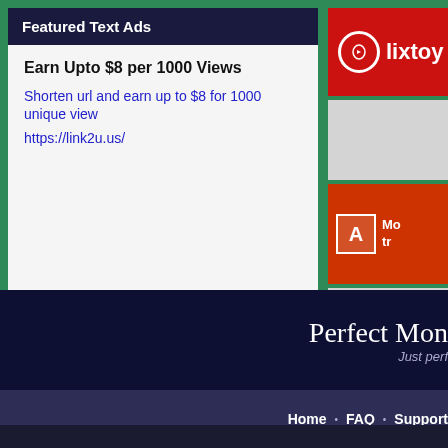Featured Text Ads
Earn Upto $8 per 1000 Views
Shorten url and earn up to $8 for 1000 unique view
https://link2u.us/
[Figure (logo): Clixtoy red banner logo with hand/cursor icon]
[Figure (other): Gray rectangle ad placeholder]
[Figure (other): Orange banner ad with letter A icon and partial text Mo... tr...]
[Figure (other): Gray rectangle ad placeholder]
[Figure (logo): Perfect Money logo with tagline Just perf...]
Home • FAQ • Support